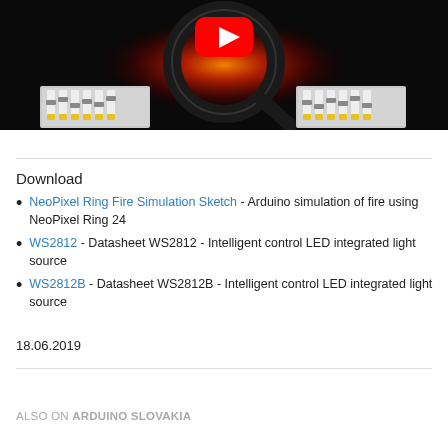[Figure (screenshot): YouTube video thumbnail showing a fire simulation with NeoPixel ring in dark background with orange/red glowing circle, YouTube play button overlay, and two small mixer UI screenshots in bottom corners]
Download
NeoPixel Ring Fire Simulation Sketch - Arduino simulation of fire using NeoPixel Ring 24
WS2812 - Datasheet WS2812 - Intelligent control LED integrated light source
WS2812B - Datasheet WS2812B - Intelligent control LED integrated light source
18.06.2019
ALSO ON ARDUINO SLOVAKIA